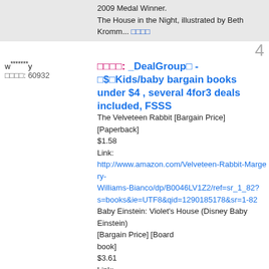2009 Medal Winner.
The House in the Night, illustrated by Beth Kromm... 🔲🔲🔲🔲
w*******y
🔲🔲🔲🔲: 60932
🔲🔲🔲🔲: _DealGroup🔲 - 🔲$🔲Kids/baby bargain books under $4 , several 4for3 deals included, FSSS
The Velveteen Rabbit [Bargain Price] [Paperback]
$1.58
Link:
http://www.amazon.com/Velveteen-Rabbit-Margery-Williams-Bianco/dp/B0046LV1Z2/ref=sr_1_82?s=books&ie=UTF8&qid=1290185178&sr=1-82
Baby Einstein: Violet's House (Disney Baby Einstein) [Bargain Price] [Board book]
$3.61
Link:
http://www.amazon.com/Baby-Einstein-Violets-House-Disney/dp/B00381B890/ref=sr_1_417?s=books&ie=UTF8&qid=1290186674&sr=1-417
Begin Smart Bouncy Baby [Bargain Price] [Board book]
$3.98
Link: